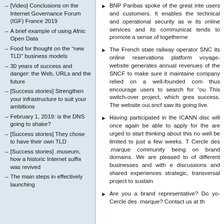[Video] Conclusions on the Internet Governance Forum (IGF) France 2019
A brief example of using Afnic Open Data
Food for thought on the "new TLD" business models
30 years of success and danger: the Web, URLs and the future
[Success stories] Strengthen your infrastructure to suit your ambitions
February 1, 2019: is the DNS going to shake?
[Success stories] They chose to have their own TLD
[Success stories] .museum, how a historic Internet suffix was revived
The main steps in effectively launching
BNP Paribas spoke of the great inte... users and customers. It enables the... technical and operational security as w... its online services and its communicat... tends to promote a sense of togetherne...
The French state railway operator SNC... its online reservations platform voyage... website generates annual revenues of... the SNCF to make sure it maintaine... company relied on a well-founded com... thus encourage users to search for "ou... This switch-over project, which grea... success. The website oui.sncf saw its... going live.
Having participated in the ICANN disc... will once again be able to apply for the... are urged to start thinking about this no... well be limited to just a few weeks. T... Cercle des .marque community being... on brand domains. We are pleased to... of different businesses and with e... discussions and shared experiences... strategic, transversal project to sustain...
Are you a brand representative? Do yo... Cercle des .marque? Contact us at th...